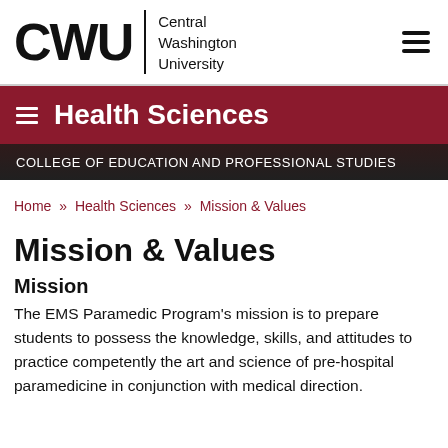[Figure (logo): CWU logo with text 'Central Washington University']
Health Sciences
COLLEGE OF EDUCATION AND PROFESSIONAL STUDIES
Home » Health Sciences » Mission & Values
Mission & Values
Mission
The EMS Paramedic Program's mission is to prepare students to possess the knowledge, skills, and attitudes to practice competently the art and science of pre-hospital paramedicine in conjunction with medical direction.